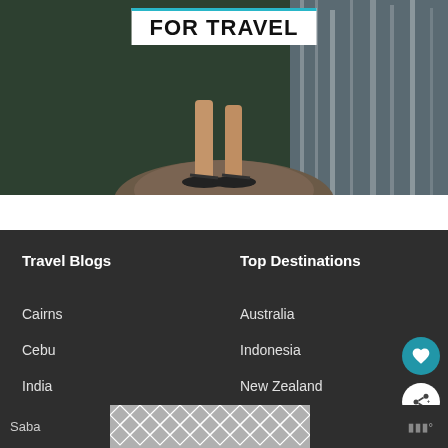[Figure (photo): A person standing on a rock wearing sandals near a waterfall, with green foliage in background. Text overlay reads FOR TRAVEL with a teal/cyan banner.]
FOR TRAVEL
Travel Blogs
Top Destinations
Cairns
Australia
Cebu
Indonesia
India
New Zealand
Saba